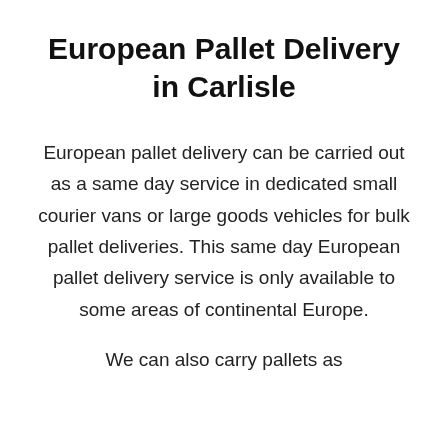European Pallet Delivery in Carlisle
European pallet delivery can be carried out as a same day service in dedicated small courier vans or large goods vehicles for bulk pallet deliveries. This same day European pallet delivery service is only available to some areas of continental Europe.

We can also carry pallets as